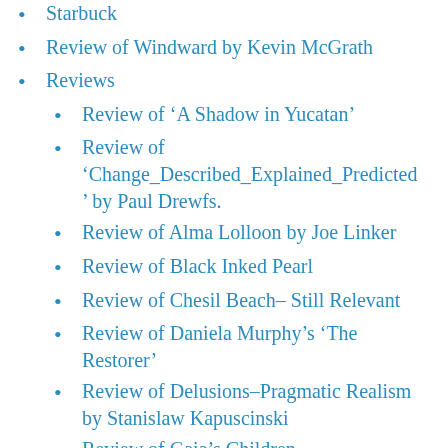Starbuck
Review of Windward by Kevin McGrath
Reviews
Review of ‘A Shadow in Yucatan’
Review of ‘Change_Described_Explained_Predicted’ by Paul Drewfs.
Review of Alma Lolloon by Joe Linker
Review of Black Inked Pearl
Review of Chesil Beach– Still Relevant
Review of Daniela Murphy’s ‘The Restorer’
Review of Delusions–Pragmatic Realism by Stanislaw Kapuscinski
Review of Gaia’s Children
Review of Nancy Boy by Chris Rose